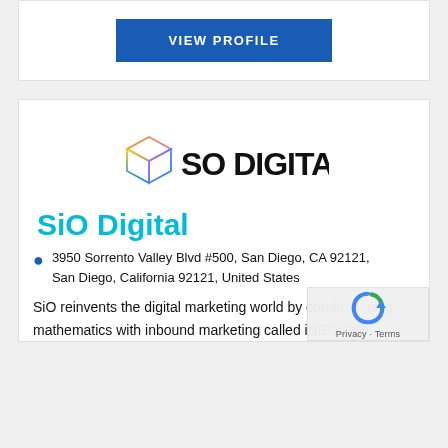[Figure (other): VIEW PROFILE button in blue]
[Figure (logo): SiO Digital logo with colorful cube icon and 'SO DIGITAL' wordmark in black]
SiO Digital
3950 Sorrento Valley Blvd #500, San Diego, CA 92121, San Diego, California 92121, United States
SiO reinvents the digital marketing world by combining mathematics with inbound marketing called iNBOUND